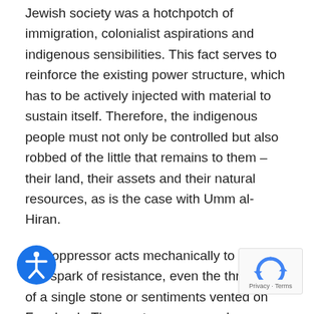Jewish society was a hotchpotch of immigration, colonialist aspirations and indigenous sensibilities. This fact serves to reinforce the existing power structure, which has to be actively injected with material to sustain itself. Therefore, the indigenous people must not only be controlled but also robbed of the little that remains to them – their land, their assets and their natural resources, as is the case with Umm al-Hiran.
The oppressor acts mechanically to subdue any spark of resistance, even the throwing of a single stone or sentiments vented on Facebook. The master seeks mutual, Sisyphean contact in order to suppress the Arab and ensure his own existence in the Arab's place.